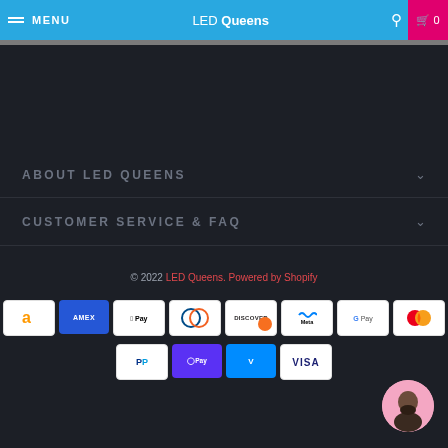MENU  LED Queens  0
ABOUT LED QUEENS
CUSTOMER SERVICE & FAQ
© 2022 LED Queens. Powered by Shopify
[Figure (other): Payment method icons: Amazon, Amex, Apple Pay, Diners Club, Discover, Meta Pay, Google Pay, Mastercard, PayPal, Shop Pay, Venmo, Visa]
[Figure (photo): Circular avatar with a bald bearded man on a pink background]